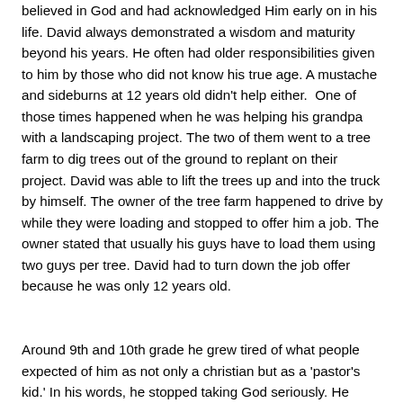believed in God and had acknowledged Him early on in his life. David always demonstrated a wisdom and maturity beyond his years. He often had older responsibilities given to him by those who did not know his true age. A mustache and sideburns at 12 years old didn't help either.  One of those times happened when he was helping his grandpa with a landscaping project. The two of them went to a tree farm to dig trees out of the ground to replant on their project. David was able to lift the trees up and into the truck by himself. The owner of the tree farm happened to drive by while they were loading and stopped to offer him a job. The owner stated that usually his guys have to load them using two guys per tree. David had to turn down the job offer because he was only 12 years old.
Around 9th and 10th grade he grew tired of what people expected of him as not only a christian but as a 'pastor's kid.' In his words, he stopped taking God seriously. He didn't just